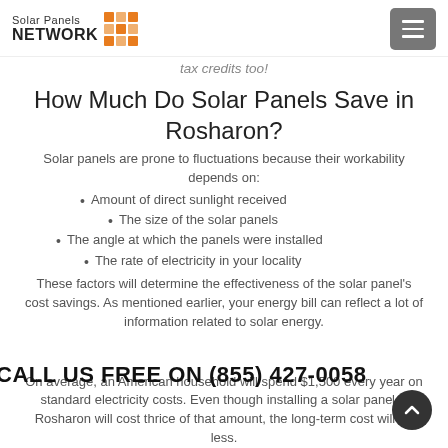Solar Panels NETWORK
tax credits too!
How Much Do Solar Panels Save in Rosharon?
Solar panels are prone to fluctuations because their workability depends on:
Amount of direct sunlight received
The size of the solar panels
The angle at which the panels were installed
The rate of electricity in your locality
These factors will determine the effectiveness of the solar panel's cost savings. As mentioned earlier, your energy bill can reflect a lot of information related to solar energy.
On average, an American household will spend $1,500 every year on standard electricity costs. Even though installing a solar panel in Rosharon will cost thrice of that amount, the long-term cost will be less.